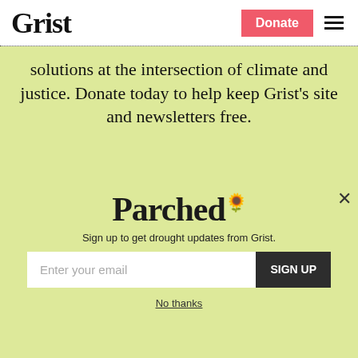Grist | Donate
solutions at the intersection of climate and justice. Donate today to help keep Grist's site and newsletters free.
Support Grist
Parched
Sign up to get drought updates from Grist.
Enter your email | SIGN UP
No thanks